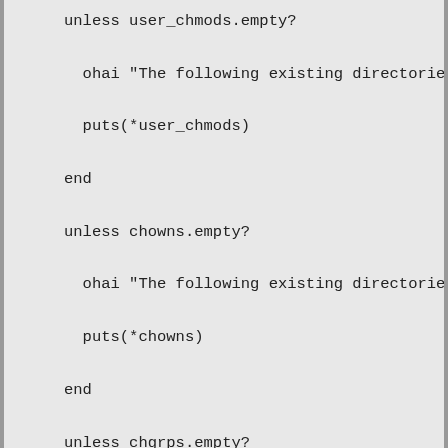unless user_chmods.empty?

  ohai "The following existing directories will be m

  puts(*user_chmods)

end

unless chowns.empty?

  ohai "The following existing directories will have

  puts(*chowns)

end

unless chgrps.empty?

  ohai "The following existing directories will have

  puts(*chgrps)

end